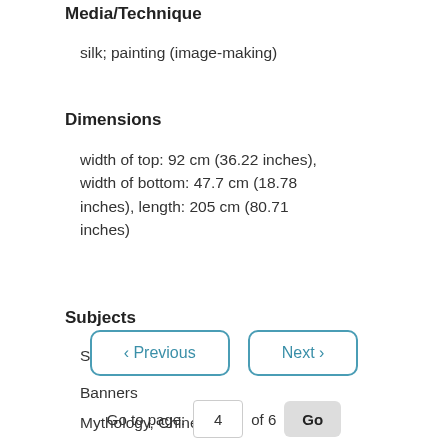Media/Technique
silk; painting (image-making)
Dimensions
width of top: 92 cm (36.22 inches), width of bottom: 47.7 cm (18.78 inches), length: 205 cm (80.71 inches)
Subjects
Silk (Textile)
Banners
Mythology, Chinese
< Previous    Next >
Go to page: 4 of 6 Go